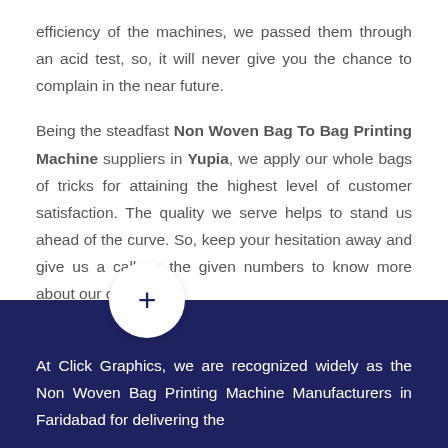efficiency of the machines, we passed them through an acid test, so, it will never give you the chance to complain in the near future.
Being the steadfast Non Woven Bag To Bag Printing Machine suppliers in Yupia, we apply our whole bags of tricks for attaining the highest level of customer satisfaction. The quality we serve helps to stand us ahead of the curve. So, keep your hesitation away and give us a call on the given numbers to know more about our offering
[Figure (other): A circular white button with a plus sign (+) overlapping the dark navy footer section]
At Click Graphics, we are recognized widely as the Non Woven Bag Printing Machine Manufacturers in Faridabad for delivering the